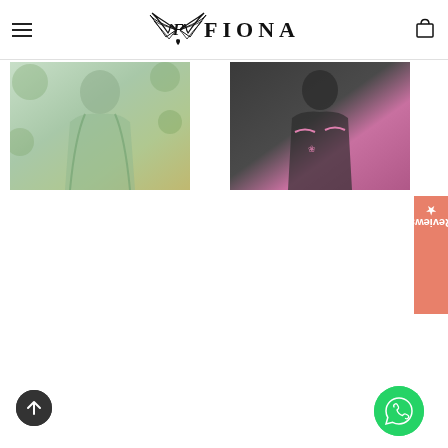FIONA - navigation header with hamburger menu and bag icon
[Figure (photo): Woman wearing a light mint/green flowing dress or top, photographed outdoors with green foliage background]
[Figure (photo): Woman wearing a dark/black outfit with pink accents or embroidery, photographed outdoors]
[Figure (other): Reviews tab on the right side with star icon and rotated text reading 'Reviews']
[Figure (other): Scroll to top arrow button, dark circular button at bottom left]
[Figure (other): WhatsApp contact button, green circular button at bottom right]